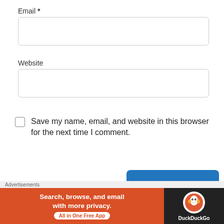Email *
[Figure (other): Empty email input text box with rounded border]
Website
[Figure (other): Empty website input text box with rounded border]
Save my name, email, and website in this browser for the next time I comment.
Post Comment
Notify me of new comments via email
Advertisements
Search, browse, and email with more privacy. All in One Free App